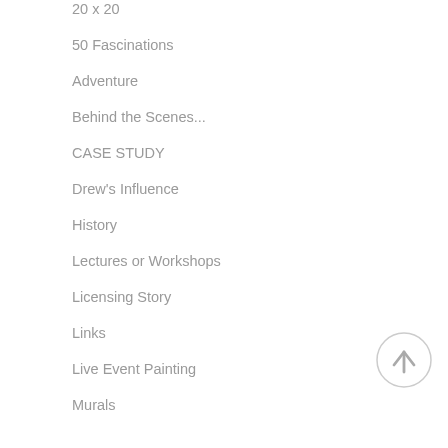20 x 20
50 Fascinations
Adventure
Behind the Scenes...
CASE STUDY
Drew's Influence
History
Lectures or Workshops
Licensing Story
Links
Live Event Painting
Murals
[Figure (other): Back to top arrow button — a circle with an upward-pointing arrow icon]